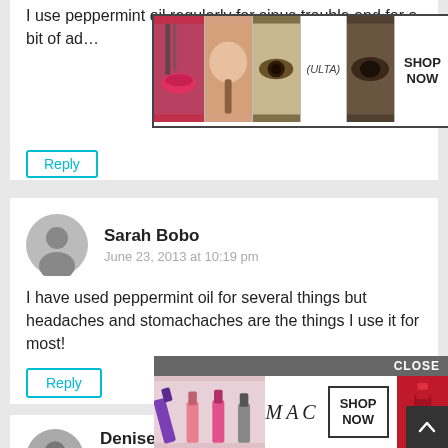I use peppermint oil regularly for sinus trouble and for a bit of ad…
[Figure (photo): Beauty/makeup advertisement for ULTA with images of lips, makeup brushes, eyes, and SHOP NOW button]
Reply
Sarah Bobo
June 23, 2013 at 10:19 pm
I have used peppermint oil for several things but headaches and stomachaches are the things I use it for most!
Reply
Denise
June 23, 2013 at 10:20 pm
I wou… fibro…
[Figure (photo): MAC cosmetics advertisement with lipstick images and SHOP NOW button, with CLOSE bar at top]